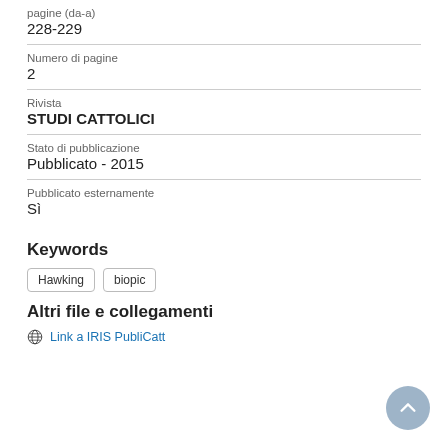pagine (da-a)
228-229
Numero di pagine
2
Rivista
STUDI CATTOLICI
Stato di pubblicazione
Pubblicato - 2015
Pubblicato esternamente
Sì
Keywords
Hawking
biopic
Altri file e collegamenti
Link a IRIS PubliCatt